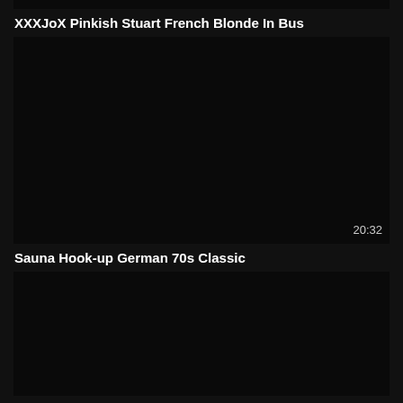[Figure (other): Black video thumbnail at top of page, partially cropped]
XXXJoX Pinkish Stuart French Blonde In Bus
[Figure (other): Black video thumbnail with duration 20:32 shown in bottom right]
Sauna Hook-up German 70s Classic
[Figure (other): Black video thumbnail at bottom of page, partially cropped]